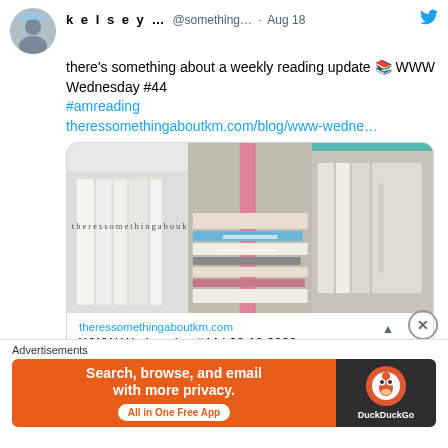[Figure (screenshot): Twitter/social media post from user 'kelsey...' (@something...) dated Aug 18, with tweet text, a link card showing a bookshelf image, and a DuckDuckGo advertisement banner at the bottom.]
k e l s e y ...  @something...  · Aug 18
there's something about a weekly reading update 📚 WWW Wednesday #44 #amreading theressomethingaboutkm.com/blog/www-wedne...
[Figure (photo): Bookshelf photo with books standing and stacked horizontally, pink ribbon/bookmark visible, site watermark 'theressomethingaboutkm' visible]
theressomethingaboutkm.com
WWW Wednesday #44 | 08.18.2022
Advertisements
[Figure (screenshot): DuckDuckGo advertisement banner: orange left section with 'Search, browse, and email with more privacy. All in One Free App' and dark right section with DuckDuckGo duck logo and 'DuckDuckGo' text]